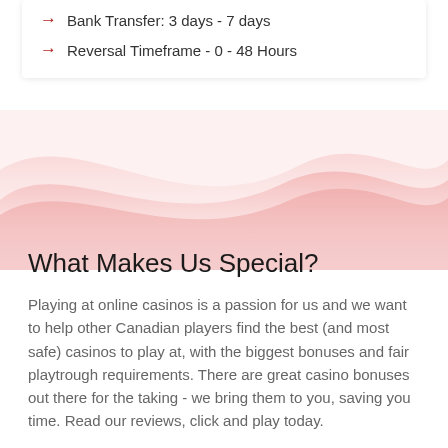Bank Transfer: 3 days - 7 days
Reversal Timeframe - 0 - 48 Hours
What Makes Us Special?
Playing at online casinos is a passion for us and we want to help other Canadian players find the best (and most safe) casinos to play at, with the biggest bonuses and fair playtrough requirements. There are great casino bonuses out there for the taking - we bring them to you, saving you time. Read our reviews, click and play today.
Disclaimer / Terms of Use
Please make sure you comply with your country's legal requirements around online gambling. This site is here to merely